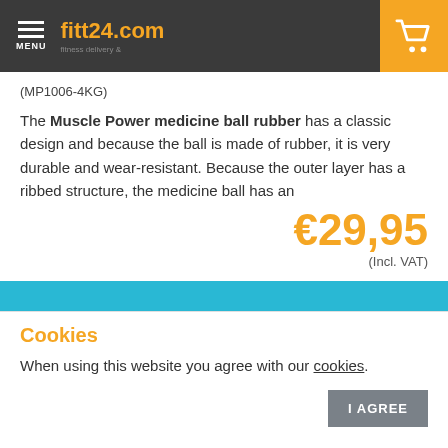fitt24.com
(MP1006-4KG)
The Muscle Power medicine ball rubber has a classic design and because the ball is made of rubber, it is very durable and wear-resistant. Because the outer layer has a ribbed structure, the medicine ball has an
€29,95 (Incl. VAT)
Cookies
When using this website you agree with our cookies.
I AGREE